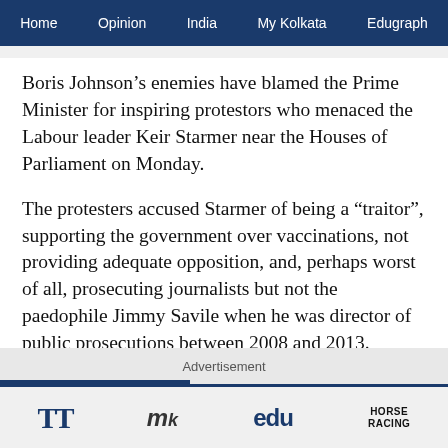Home  Opinion  India  My Kolkata  Edugraph
Boris Johnson’s enemies have blamed the Prime Minister for inspiring protestors who menaced the Labour leader Keir Starmer near the Houses of Parliament on Monday.
The protesters accused Starmer of being a “traitor”, supporting the government over vaccinations, not providing adequate opposition, and, perhaps worst of all, prosecuting journalists but not the paedophile Jimmy Savile when he was director of public prosecutions between 2008 and 2013.
Advertisement
TT  My  edu  HORSE RACING